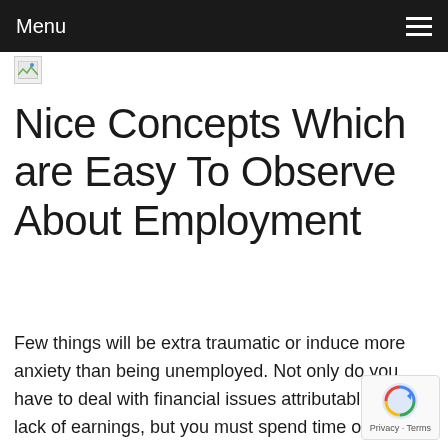Menu
[Figure (other): Broken image placeholder icon]
Nice Concepts Which are Easy To Observe About Employment
Few things will be extra traumatic or induce more anxiety than being unemployed. Not only do you have to deal with financial issues attributable to the lack of earnings, but you must spend time on the lookout for a brand new job. To make things easier on yourself, use the following tips to speed up the job hunt.